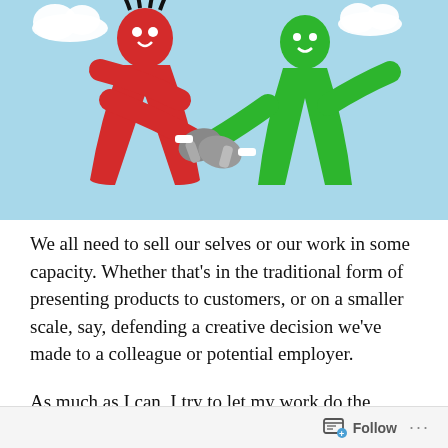[Figure (illustration): Two inflatable tube-man figures (one red, one green) shaking hands using real human hands in gloves, against a light blue sky background with white clouds.]
We all need to sell our selves or our work in some capacity. Whether that's in the traditional form of presenting products to customers, or on a smaller scale, say, defending a creative decision we've made to a colleague or potential employer.
As much as I can, I try to let my work do the talking (he says as he types a blog instead of designing something). Making good things feels
Follow ···